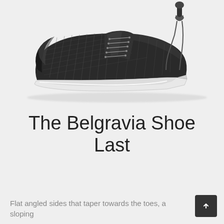[Figure (illustration): Pencil/charcoal sketch illustration of a classic Oxford dress shoe with shoe tree inserted, shown from the side. The shoe has a pointed toe, lace-up closure, and a distinct sole with a heel block. Rendered in black and white with crosshatching style shading.]
The Belgravia Shoe Last
Flat angled sides that taper towards the toes, a sloping